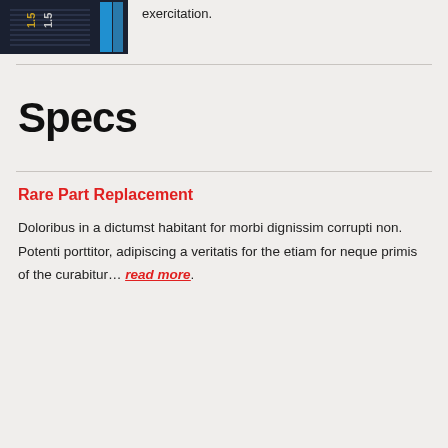[Figure (photo): Close-up of a dark gauge or instrument panel with blue highlighted element and numbers 1.5 visible]
exercitation.
Specs
Rare Part Replacement
Doloribus in a dictumst habitant for morbi dignissim corrupti non. Potenti porttitor, adipiscing a veritatis for the etiam for neque primis of the curabitur… read more.